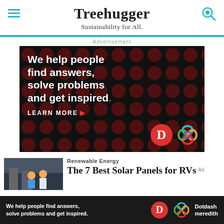Treehugger
Sustainability for All.
Advertisement
[Figure (illustration): Dark advertisement banner with red polka dot pattern background. White bold text reads: 'We help people find answers, solve problems and get inspired.' with a red period. Below is 'LEARN MORE' with a red arrow. Bottom right shows Dotdash 'D' logo and a colorful interlocking circles logo.]
Renewable Energy
[Figure (photo): Photo showing two workers in safety gear at an industrial/energy facility.]
The 7 Best Solar Panels for RVs
[Figure (illustration): Bottom sticky advertisement banner in dark background with white text 'We help people find answers, solve problems and get inspired.' and Dotdash meredith logos on the right.]